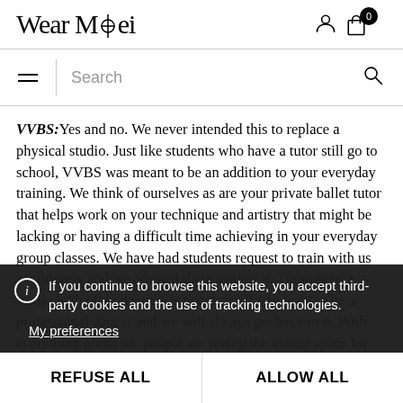[Figure (logo): Wear Mei brand logo with compass-like icon inside the letter A]
VVBS: Yes and no. We never intended this to replace a physical studio. Just like students who have a tutor still go to school, VVBS was meant to be an addition to your everyday training. We think of ourselves as are your private ballet tutor that helps work on your technique and artistry that might be lacking or having a difficult time achieving in your everyday group classes. We have had students request to train with us exclusively and we advised them against it. Training in a studio with other dancers is necessary if you want to be a professional dancer and we will always get back to it. With everything going on, people are seeing the virtual space for what it is; a place to continue to make progress. A place to be seen and corrected. A place to continue to have a community. It's certainly the individual dance expression we hope has always been for its full value.
If you continue to browse this website, you accept third-party cookies and the use of tracking technologies.
My preferences
REFUSE ALL
ALLOW ALL